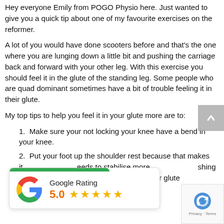Hey everyone Emily from POGO Physio here. Just wanted to give you a quick tip about one of my favourite exercises on the reformer.
A lot of you would have done scooters before and that's the one where you are lunging down a little bit and pushing the carriage back and forward with your other leg. With this exercise you should feel it in the glute of the standing leg. Some people who are quad dominant sometimes have a bit of trouble feeling it in their glute.
My top tips to help you feel it in your glute more are to:
Make sure your not locking your knee have a bend in your knee.
Put your foot up the shoulder rest because that makes it ...eeds to stabilise more. ...shing hip up, that pu... ...d makes your glute ... harder.
[Figure (other): Google Rating widget showing 5.0 stars with green bar at top]
[Figure (other): reCAPTCHA widget with Privacy and Terms text]